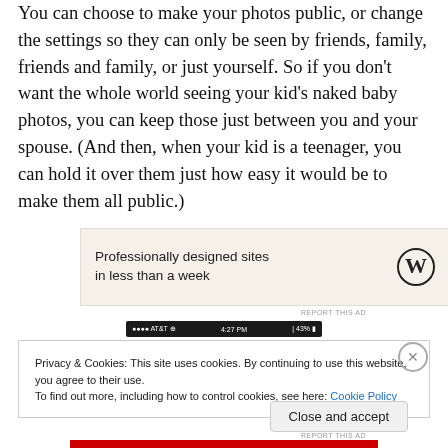You can choose to make your photos public, or change the settings so they can only be seen by friends, family, friends and family, or just yourself. So if you don't want the whole world seeing your kid's naked baby photos, you can keep those just between you and your spouse. (And then, when your kid is a teenager, you can hold it over them just how easy it would be to make them all public.)
[Figure (other): WordPress advertisement banner with text 'Professionally designed sites in less than a week' and WordPress logo on beige background]
[Figure (screenshot): Mobile status bar showing AT&T carrier, 4:27 PM time, and 43% battery]
Privacy & Cookies: This site uses cookies. By continuing to use this website, you agree to their use.
To find out more, including how to control cookies, see here: Cookie Policy
Close and accept